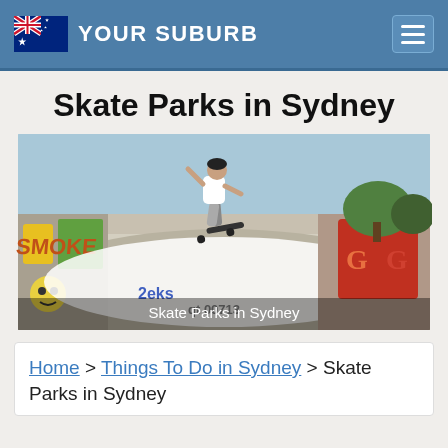YOUR SUBURB
Skate Parks in Sydney
[Figure (photo): A skateboarder performing a trick at an outdoor skate park covered in colorful graffiti. The caption reads 'Skate Parks in Sydney'.]
Home > Things To Do in Sydney > Skate Parks in Sydney